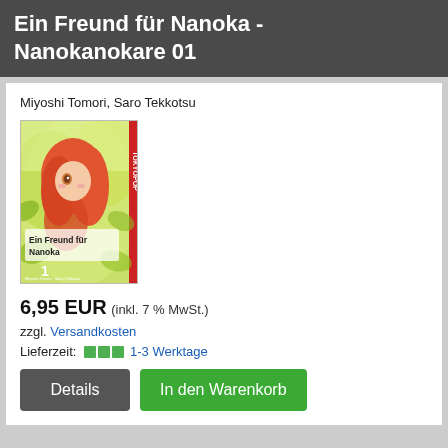Ein Freund für Nanoka - Nanokanokare 01
Miyoshi Tomori, Saro Tekkotsu
[Figure (illustration): Book cover of 'Ein Freund für Nanoka' Volume 1, showing an anime-style girl with long red/pink hair against a green leafy background, with the title 'Ein Freund für Nanoka' and number 1 on the cover.]
6,95 EUR (inkl. 7 % MwSt.)
zzgl. Versandkosten
Lieferzeit: 🟩🟩🟩 1-3 Werktage
Details
In den Warenkorb